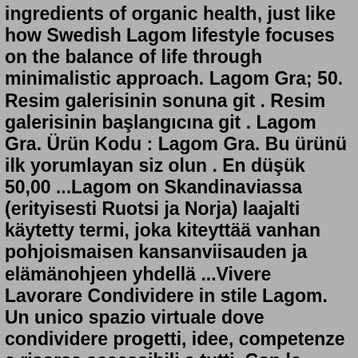ingredients of organic health, just like how Swedish Lagom lifestyle focuses on the balance of life through minimalistic approach. Lagom Gra; 50. Resim galerisinin sonuna git . Resim galerisinin başlangıcına git . Lagom Gra. Ürün Kodu : Lagom Gra. Bu ürünü ilk yorumlayan siz olun . En düşük 50,00 ...Lagom on Skandinaviassa (erityisesti Ruotsi ja Norja) laajalti käytetty termi, joka kiteyttää vanhan pohjoismaisen kansanviisauden ja elämänohjeen yhdellä ...Vivere Lavorare Condividere in stile Lagom. Un unico spazio virtuale dove condividere progetti, idee, competenze e risorse accessibili a tutti. Con le attività di Lagom Italia mostro come, anche con piccoli cambiamenti quotidiani nel lavoro e nella socialità, si può migliorare la qualità della vita, con un risparmio economico oltre ad una limitazione dell'impatto ambientale.Jan 07, 2020 · Lagom—a Swedish word meaning "just the right amount,"—is the new lifestyle and home decor trend that's taking over 2020. If the late 2010s were all about hygge, then 2020 is all about lagom. ... The Swedish term 'lagom' has